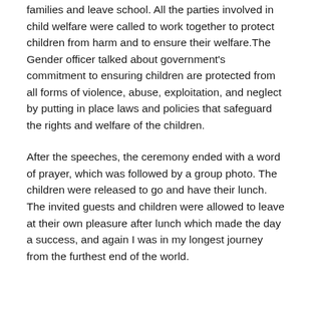families and leave school. All the parties involved in child welfare were called to work together to protect children from harm and to ensure their welfare. The Gender officer talked about government's commitment to ensuring children are protected from all forms of violence, abuse, exploitation, and neglect by putting in place laws and policies that safeguard the rights and welfare of the children.
After the speeches, the ceremony ended with a word of prayer, which was followed by a group photo. The children were released to go and have their lunch. The invited guests and children were allowed to leave at their own pleasure after lunch which made the day a success, and again I was in my longest journey from the furthest end of the world.